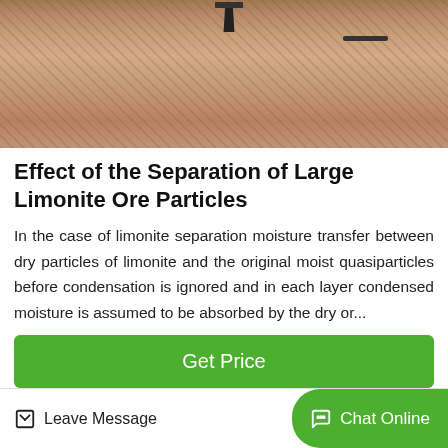[Figure (photo): Photo of a reddish-brown sandy/clay ground surface with some equipment visible at the top]
Effect of the Separation of Large Limonite Ore Particles
In the case of limonite separation moisture transfer between dry particles of limonite and the original moist quasiparticles before condensation is ignored and in each layer condensed moisture is assumed to be absorbed by the dry or...